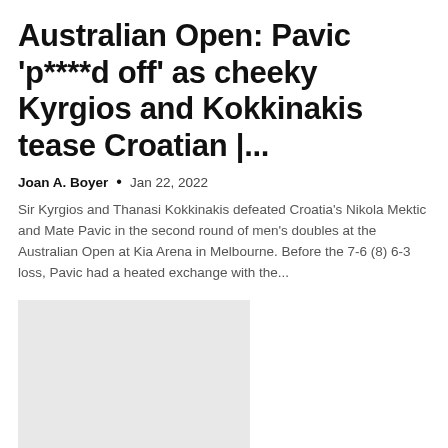Australian Open: Pavic 'p****d off' as cheeky Kyrgios and Kokkinakis tease Croatian |...
Joan A. Boyer  •  Jan 22, 2022
Sir Kyrgios and Thanasi Kokkinakis defeated Croatia's Nikola Mektic and Mate Pavic in the second round of men's doubles at the Australian Open at Kia Arena in Melbourne. Before the 7-6 (8) 6-3 loss, Pavic had a heated exchange with the...
[Figure (photo): Placeholder image (light gray rectangle)]
Dallas SEO Geek Helps Local